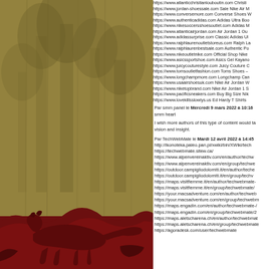[Figure (illustration): Left panel: golden/tan textured background with a dark red silhouette of a large cat (mountain lion/puma) walking near the bottom, with tree/forest silhouette in the background.]
https://www.atlanticchristianlouboutin.com Christian...
https://www.jordan-shoessale.com Sale Nike Air M...
https://www.conversemore.com Converse Shoes W...
https://www.authenticadidas.com Adidas Ultra Boo...
https://www.nikesoccersshoesoutlet.com Adidas M...
https://www.atlanticairjordan.com Air Jordan 1 Ou...
https://www.adidassurprise.com Classic Adidas Ul...
https://www.ralphlaurenoutletstoreus.com Ralph La...
https://www.ralphlaurenbestsale.com Authentic Po...
https://www.nikeoutletnike.com Official Shop Nike...
https://www.asicssportshoe.com Asics Gel Kayano...
https://www.juicycouturestyle.com Juicy Couture C...
https://www.tomsoutletfashion.com Toms Shoes –...
https://www.longchampmore.com Longchamp Can...
https://www.usaairshoesuk.com Nike Air Jordan W...
https://www.niketopbrand.com Nike Air Jordan 1 S...
https://www.pacificsneakers.com Buy Big Size Nik...
https://www.lovekillsslowlys.us Ed Hardy T Shirts...
Par smm panel le Mercredi 9 mars 2022 à 10:16
smm heart
I wish more authors of this type of content would ta... vision and insight.
Par TechWebMate le Mardi 12 avril 2022 à 14:45
http://ikonoteka.paleo.pan.pl/xwiki/bin/XWiki/tech...
https://techwebmate.sitew.ca/
https://www.alpenvereinaktiv.com/en/author/techw...
https://www.alpenvereinaktiv.com/en/group/techwe...
https://outdoor.campigliodolomiti.it/en/author/teche...
https://outdoor.campigliodolomiti.it/en/group/techv...
https://maps.visitfiemme.it/en/author/techwebmate-...
https://maps.visitfiemme.it/en/group/techwebmate/...
https://your.macsadventure.com/en/author/techweb...
https://your.macsadventure.com/en/group/techwebm...
https://maps.engadin.com/en/author/techwebmate-/...
https://maps.engadin.com/en/group/techwebmate/2...
https://maps.aletscharena.ch/en/author/techwebmat...
https://maps.aletscharena.ch/en/group/techwebmate...
https://agoradesk.com/user/techwebmate